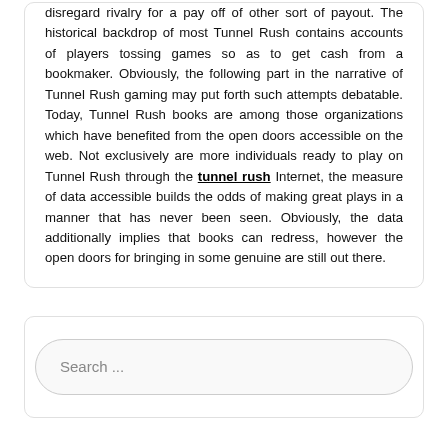disregard rivalry for a pay off of other sort of payout. The historical backdrop of most Tunnel Rush contains accounts of players tossing games so as to get cash from a bookmaker. Obviously, the following part in the narrative of Tunnel Rush gaming may put forth such attempts debatable. Today, Tunnel Rush books are among those organizations which have benefited from the open doors accessible on the web. Not exclusively are more individuals ready to play on Tunnel Rush through the tunnel rush Internet, the measure of data accessible builds the odds of making great plays in a manner that has never been seen. Obviously, the data additionally implies that books can redress, however the open doors for bringing in some genuine are still out there.
Search ...